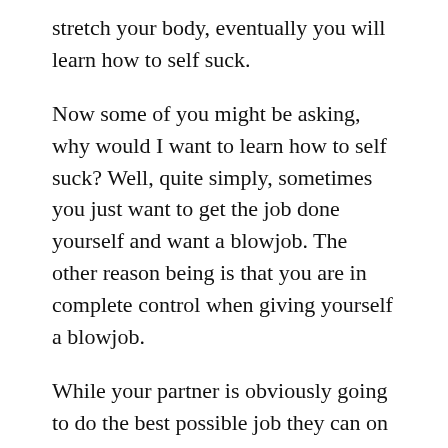stretch your body, eventually you will learn how to self suck.
Now some of you might be asking, why would I want to learn how to self suck? Well, quite simply, sometimes you just want to get the job done yourself and want a blowjob. The other reason being is that you are in complete control when giving yourself a blowjob.
While your partner is obviously going to do the best possible job they can on your penis, I’ve learned there is a disconnect. Your partner doesn’t know what feels best for your penis.
If you’re going to town on yourself, you can get